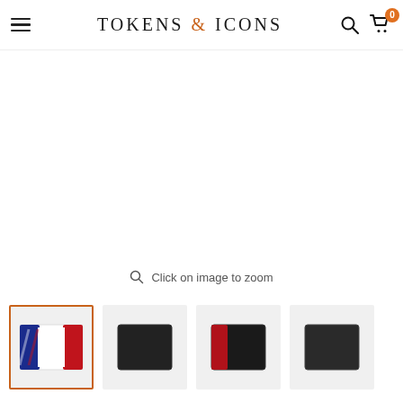Tokens & Icons — navigation header with hamburger menu, search icon, and cart (0 items)
[Figure (photo): Large blank white product image area — product image not loaded]
Click on image to zoom
[Figure (photo): Thumbnail strip showing four product image thumbnails; first thumbnail (selected, orange border) shows a product with red/white/blue colors; remaining three thumbnails show dark/black product images]